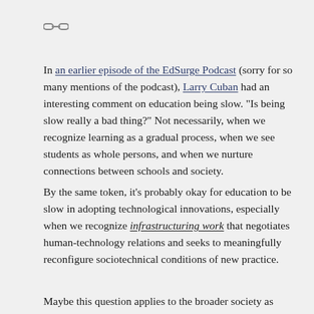[Figure (other): A chain link icon (hyperlink symbol) in gray]
In an earlier episode of the EdSurge Podcast (sorry for so many mentions of the podcast), Larry Cuban had an interesting comment on education being slow. “Is being slow really a bad thing?” Not necessarily, when we recognize learning as a gradual process, when we see students as whole persons, and when we nurture connections between schools and society.
By the same token, it’s probably okay for education to be slow in adopting technological innovations, especially when we recognize infrastructuring work that negotiates human-technology relations and seeks to meaningfully reconfigure sociotechnical conditions of new practice.
Maybe this question applies to the broader society as